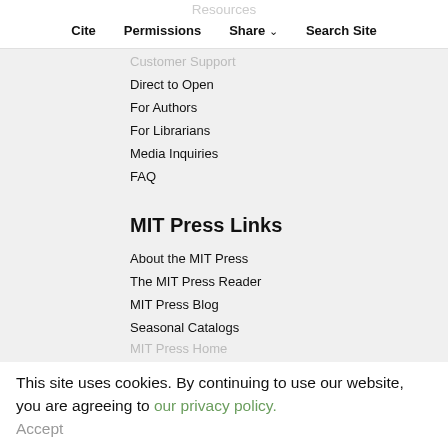Resources  Cite  Permissions  Share  Search Site
Customer Support
Direct to Open
For Authors
For Librarians
Media Inquiries
FAQ
MIT Press Links
About the MIT Press
The MIT Press Reader
MIT Press Blog
Seasonal Catalogs
MIT Press Home
This site uses cookies. By continuing to use our website, you are agreeing to our privacy policy. Accept
Contact Us